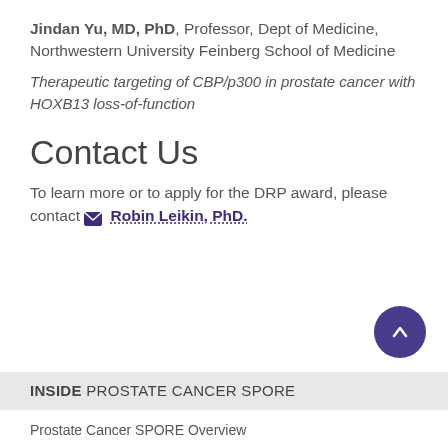Jindan Yu, MD, PhD, Professor, Dept of Medicine, Northwestern University Feinberg School of Medicine
Therapeutic targeting of CBP/p300 in prostate cancer with HOXB13 loss-of-function
Contact Us
To learn more or to apply for the DRP award, please contact Robin Leikin, PhD.
INSIDE PROSTATE CANCER SPORE
Prostate Cancer SPORE Overview